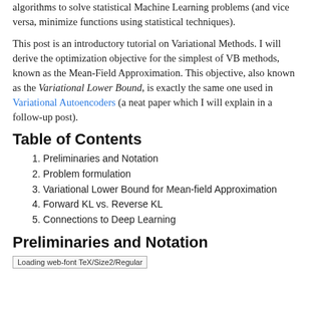algorithms to solve statistical Machine Learning problems (and vice versa, minimize functions using statistical techniques).
This post is an introductory tutorial on Variational Methods. I will derive the optimization objective for the simplest of VB methods, known as the Mean-Field Approximation. This objective, also known as the Variational Lower Bound, is exactly the same one used in Variational Autoencoders (a neat paper which I will explain in a follow-up post).
Table of Contents
1. Preliminaries and Notation
2. Problem formulation
3. Variational Lower Bound for Mean-field Approximation
4. Forward KL vs. Reverse KL
5. Connections to Deep Learning
Preliminaries and Notation
Loading web-font TeX/Size2/Regular